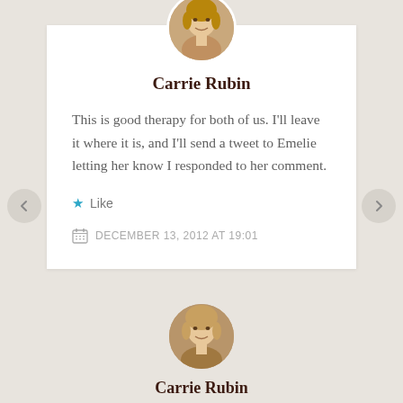Carrie Rubin
This is good therapy for both of us. I'll leave it where it is, and I'll send a tweet to Emelie letting her know I responded to her comment.
★ Like
DECEMBER 13, 2012 AT 19:01
[Figure (photo): Circular avatar photo of a woman with blonde hair, top of comment card]
[Figure (photo): Circular avatar photo of a woman with blonde hair, bottom of page]
Carrie Rubin